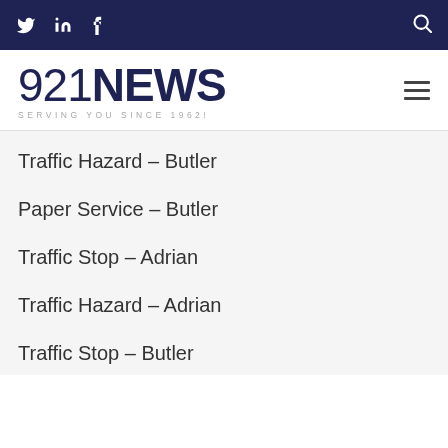921NEWS — SERVING YOU SINCE 1962!
Traffic Hazard – Butler
Paper Service – Butler
Traffic Stop – Adrian
Traffic Hazard – Adrian
Traffic Stop – Butler